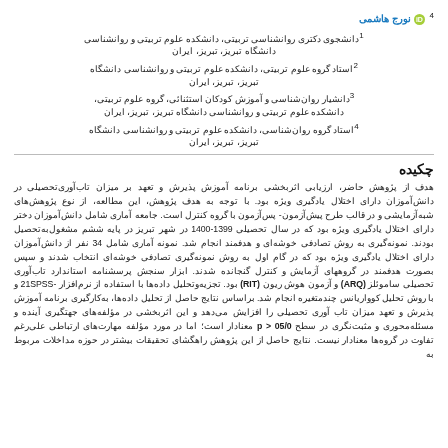نورج هاشمی 4 [ORCID]
1دانشجوی دکتری روانشناسی تربیتی، دانشکده علوم تربیتی و روانشناسی دانشگاه تبریز، تبریز، ایران
2استاد گروه علوم تربیتی، دانشکده علوم تربیتی و روانشناسی دانشگاه تبریز، تبریز، ایران
3دانشیار روانشناسی و آموزش کودکان استثنائی، گروه علوم تربیتی، دانشکده علوم تربیتی و روانشناسی دانشگاه تبریز، تبریز، ایران
4استاد گروه روانشناسی، دانشکده علوم تربیتی و روانشناسی دانشگاه تبریز، تبریز، ایران
چکیده
هدف از پژوهش حاضر، ارزیابی اثربخشی برنامه آموزش پذیرش و تعهد بر میزان تاب‌آوری‌تحصیلی در دانش‌آموزان دارای اختلال یادگیری ویژه بود. با توجه به هدف پژوهش، این مطالعه، از نوع پژوهش‌های شبه‌آزمایشی و در قالب طرح پیش‌آزمون- پس‌آزمون با گروه کنترل است. جامعه آماری شامل دانش‌آموزان دختر دارای اختلال یادگیری ویژه بود که در سال تحصیلی 1399-1400 در شهر تبریز در پایه ششم مشغول‌به‌تحصیل بودند. نمونه‌گیری به روش تصادفی خوشه‌ای و هدفمند انجام شد. نمونه آماری شامل 34 نفر از دانش‌آموزان دارای اختلال یادگیری ویژه بود که در گام اول به روش نمونه‌گیری تصادفی خوشه‌ای انتخاب شدند و سپس بصورت هدفمند در گروههای آزمایش و کنترل گنجانده شدند. ابزار سنجش پرسشنامه استاندارد تاب‌آوری تحصیلی ساموئلز (ARQ) و آزمون هوش ریون (RIT) بود. تجزیه‌وتحلیل داده‌ها با استفاده از نرم‌افزار SPSS-21 و با روش تحلیل کوواریانس چندمتغیره انجام شد. براساس نتایج حاصل از تحلیل داده‌ها، به‌کارگیری برنامه آموزش پذیرش و تعهد میزان تاب‌آوری تحصیلی را افزایش می‌دهد و این اثربخشی در مؤلفه‌های جهتگیری آینده و مسئله‌محوری و مثبت‌نگری در سطح p > 05/0 معنادار است؛ اما در مورد مؤلفه مهارت‌های ارتباطی علی‌رغم تفاوت در گروه‌ها معنادار نیست. نتایج حاصل از این پژوهش راهگشای تحقیقات بیشتر در حوزه مداخلات مربوط به